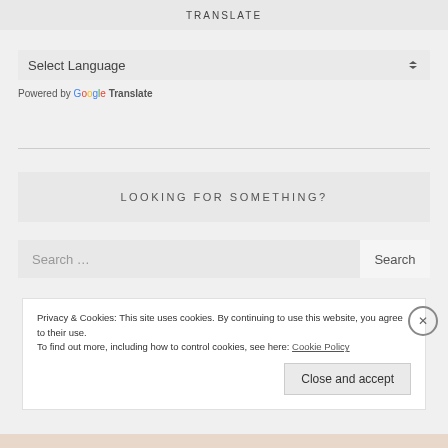TRANSLATE
Select Language
Powered by Google Translate
LOOKING FOR SOMETHING?
Search …
Privacy & Cookies: This site uses cookies. By continuing to use this website, you agree to their use. To find out more, including how to control cookies, see here: Cookie Policy
Close and accept